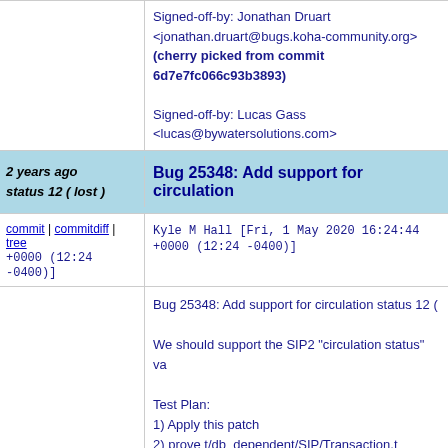Signed-off-by: Jonathan Druart <jonathan.druart@bugs.koha-community.org>
(cherry picked from commit 6d7e7fc066c93b3893...
Signed-off-by: Lucas Gass <lucas@bywatersolutions.com>
2 years ago
status 12 ( lost )
Bug 25348: Add support for circulation
commit | commitdiff | tree
+0000 (12:24 -0400)]
Kyle M Hall [Fri, 1 May 2020 16:24:44 +0000 (12:24 -0400)]
Bug 25348: Add support for circulation status 12 (

We should support the SIP2 "circulation status" va

Test Plan:
1) Apply this patch
2) prove t/db_dependent/SIP/Transaction.t

Signed-off-by: David Nind <david@davidnind.com>
Signed-off-by: Tomas Cohen Arazi <tomascohen@theke.io>
Signed-off-by: Jonathan Druart <jonathan.druart@bugs.koha-community.org>
(cherry picked from commit ed6a65c1ddacaa80fe...

Signed-off-by: Lucas Gass
<lucas@bywatersolutions.com>